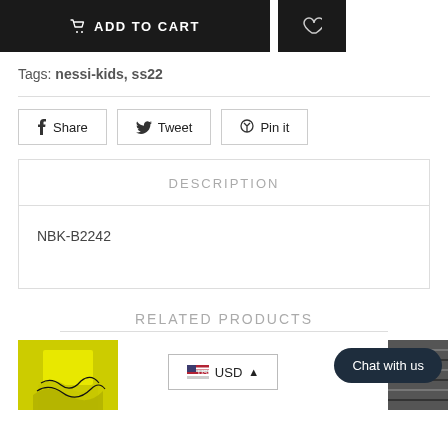[Figure (screenshot): Add to cart button (black) and wishlist heart button (black)]
Tags: nessi-kids, ss22
[Figure (infographic): Social share buttons: Share, Tweet, Pin it]
DESCRIPTION
NBK-B2242
RELATED PRODUCTS
[Figure (screenshot): Related product thumbnails, USD currency widget, and Chat with us bubble]